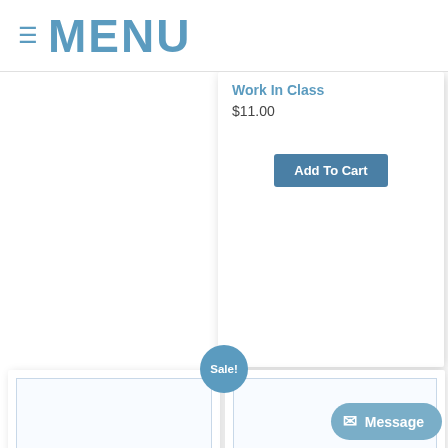≡ MENU
Work In Class
$11.00
Add To Cart
[Figure (other): Blank white poster product image placeholder for Poster #126]
Poster #126 –
Sale!
[Figure (other): Blank white poster product image placeholder for Poster #127]
Poster #127 – Poster
Message